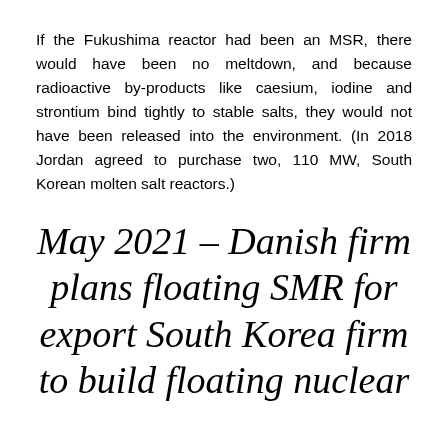If the Fukushima reactor had been an MSR, there would have been no meltdown, and because radioactive by-products like caesium, iodine and strontium bind tightly to stable salts, they would not have been released into the environment. (In 2018 Jordan agreed to purchase two, 110 MW, South Korean molten salt reactors.)
May 2021 – Danish firm plans floating SMR for export South Korea firm to build floating nuclear